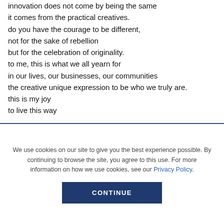innovation does not come by being the same
it comes from the practical creatives.
do you have the courage to be different,
not for the sake of rebellion
but for the celebration of originality.
to me, this is what we all yearn for
in our lives, our businesses, our communities
the creative unique expression to be who we truly are.
this is my joy
to live this way
We use cookies on our site to give you the best experience possible. By continuing to browse the site, you agree to this use. For more information on how we use cookies, see our Privacy Policy.